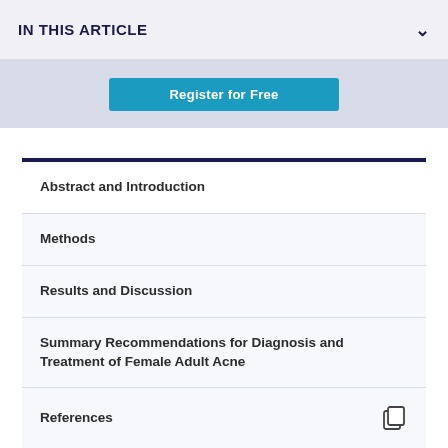IN THIS ARTICLE
[Figure (screenshot): Register for free button on light grey background]
Abstract and Introduction
Methods
Results and Discussion
Summary Recommendations for Diagnosis and Treatment of Female Adult Acne
References